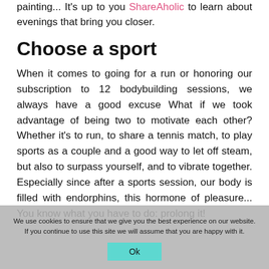painting... It's up to you ShareAholic to learn about evenings that bring you closer.
Choose a sport
When it comes to going for a run or honoring our subscription to 12 bodybuilding sessions, we always have a good excuse What if we took advantage of being two to motivate each other? Whether it's to run, to share a tennis match, to play sports as a couple and a good way to let off steam, but also to surpass yourself, and to vibrate together. Especially since after a sports session, our body is filled with endorphins, this hormone of pleasure... You know what you have to do: prolong it!
We use cookies to ensure that we give you the best experience on our website. If you continue to use this site we will assume that you are happy with it. Ok